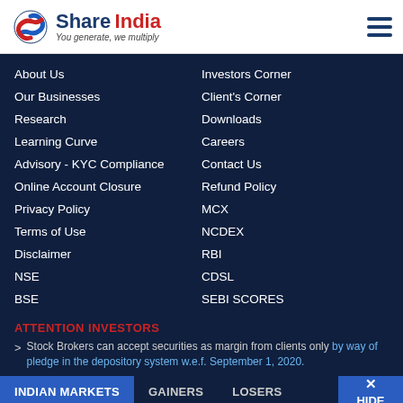[Figure (logo): Share India logo with tagline 'You generate, we multiply']
About Us
Investors Corner
Our Businesses
Client's Corner
Research
Downloads
Learning Curve
Careers
Advisory - KYC Compliance
Contact Us
Online Account Closure
Refund Policy
Privacy Policy
MCX
Terms of Use
NCDEX
Disclaimer
RBI
NSE
CDSL
BSE
SEBI SCORES
ATTENTION INVESTORS
Stock Brokers can accept securities as margin from clients only by way of pledge in the depository system w.e.f. September 1, 2020.
INDIAN MARKETS   GAINERS   LOSERS   HIDE